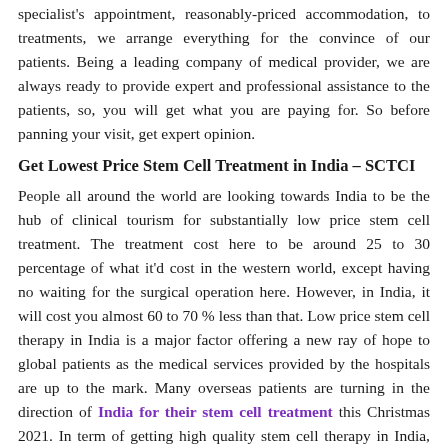specialist's appointment, reasonably-priced accommodation, to treatments, we arrange everything for the convince of our patients. Being a leading company of medical provider, we are always ready to provide expert and professional assistance to the patients, so, you will get what you are paying for. So before panning your visit, get expert opinion.
Get Lowest Price Stem Cell Treatment in India – SCTCI
People all around the world are looking towards India to be the hub of clinical tourism for substantially low price stem cell treatment. The treatment cost here to be around 25 to 30 percentage of what it'd cost in the western world, except having no waiting for the surgical operation here. However, in India, it will cost you almost 60 to 70 % less than that. Low price stem cell therapy in India is a major factor offering a new ray of hope to global patients as the medical services provided by the hospitals are up to the mark. Many overseas patients are turning in the direction of India for their stem cell treatment this Christmas 2021. In term of getting high quality stem cell therapy in India, the worldwide patients frequently don't forget this place for having the high quality and inexpensive healthcare offerings. On the subject of the success rate of the treatment, these mentioned being round 70% to 80% both